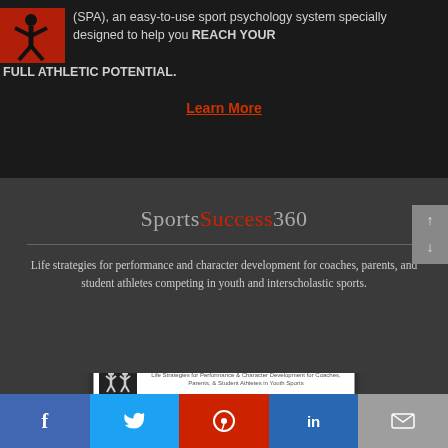(SPA), an easy-to-use sport psychology system specially designed to help you REACH YOUR FULL ATHLETIC POTENTIAL.
Learn More
SportsSuccess360
Life strategies for performance and character development for coaches, parents, and student athletes competing in youth and interscholastic sports.
[Figure (screenshot): Screenshot of SportsSuccess360 website showing logo, navigation buttons, and site description text.]
f (Facebook) | Twitter | Pinterest | in (LinkedIn) | Email